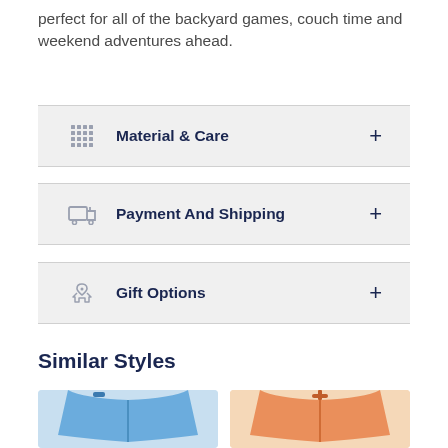perfect for all of the backyard games, couch time and weekend adventures ahead.
Material & Care
Payment And Shipping
Gift Options
Similar Styles
[Figure (photo): Two product thumbnails showing children's shorts: one blue pair and one orange pair]
[Figure (photo): Blue children's shorts]